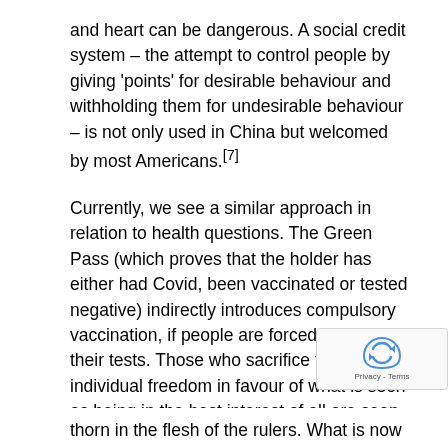and heart can be dangerous. A social credit system – the attempt to control people by giving 'points' for desirable behaviour and withholding them for undesirable behaviour – is not only used in China but welcomed by most Americans.[7]
Currently, we see a similar approach in relation to health questions. The Green Pass (which proves that the holder has either had Covid, been vaccinated or tested negative) indirectly introduces compulsory vaccination, if people are forced to pay for their tests. Those who sacrifice their individual freedom in favour of what is seen as being in the best interest of all are seen as morally laudable. This did not start with Covid-19, however. Looking back on the first two decades of a century that began with 9/11, the French lawyer François Sureau wrote as early as September 2019, "We have got used to living without freedom. It is not new that freedom is a thorn in the flesh of the rulers. What is now is that the